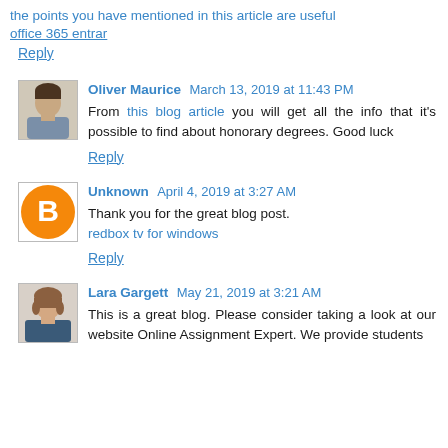the points you have mentioned in this article are useful office 365 entrar
Reply
Oliver Maurice  March 13, 2019 at 11:43 PM
From this blog article you will get all the info that it's possible to find about honorary degrees. Good luck
Reply
Unknown  April 4, 2019 at 3:27 AM
Thank you for the great blog post. redbox tv for windows
Reply
Lara Gargett  May 21, 2019 at 3:21 AM
This is a great blog. Please consider taking a look at our website Online Assignment Expert. We provide students